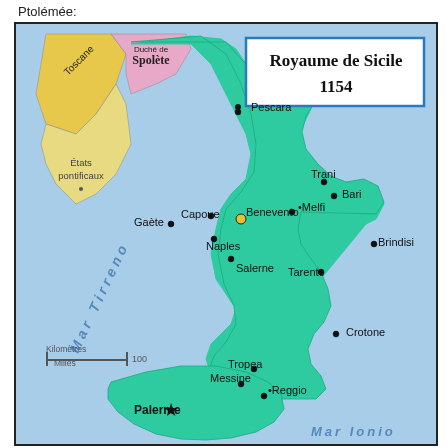Ptolémée:
[Figure (map): Map of the Kingdom of Sicily (Royaume de Sicile) in 1154, showing southern Italy and Sicily. The kingdom territory is shown in teal/green. Neighboring regions include Toscane (yellow), États pontificaux (yellow), and Duché de Spolète (pink). Cities labeled: Pescara, Capoue, Benevento, Naples, Salerne, Gaète, Trani, Bari, Melfi, Tarente, Brindisi, Crotone, Tropea, Palerme (with star), Messine, Reggio. Seas labeled: Mar Tirreno and Mar Ionio. Scale bar shows Kilomètres/Milles 100.]